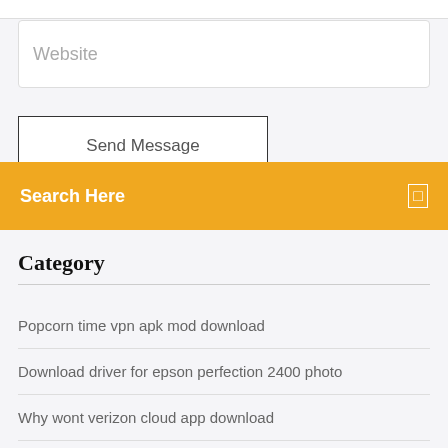Website
Send Message
Search Here
Category
Popcorn time vpn apk mod download
Download driver for epson perfection 2400 photo
Why wont verizon cloud app download